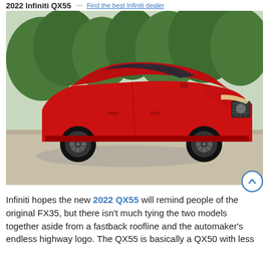2022 Infiniti QX55 — Find the best Infiniti dealer
[Figure (photo): Red 2022 Infiniti QX55 SUV parked on a driveway with trees in the background, shown in a three-quarter front view.]
Infiniti hopes the new 2022 QX55 will remind people of the original FX35, but there isn't much tying the two models together aside from a fastback roofline and the automaker's endless highway logo. The QX55 is basically a QX50 with less